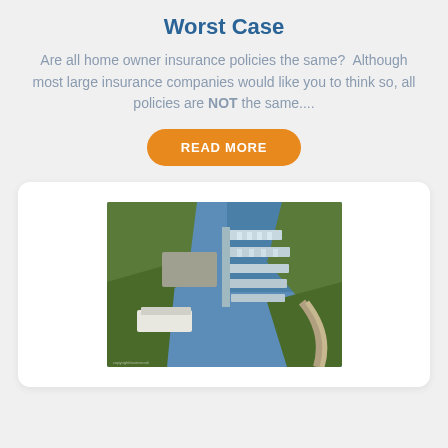Worst Case
Are all home owner insurance policies the same?  Although most large insurance companies would like you to think so, all policies are NOT the same....
[Figure (other): Orange rounded button labeled READ MORE]
[Figure (photo): Aerial photograph of a marina with boat docks extending into a lake, surrounded by wooded hillsides and a road curving in the background]